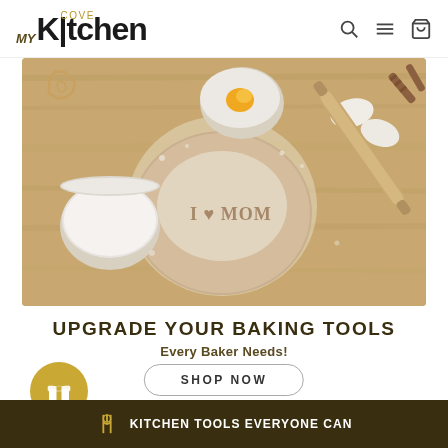MY Kitchen Cove — navigation logo with search, menu, and cart icons
[Figure (photo): Overhead baking scene on a wooden board: cookie cutters, bowl of eggs, bowl of cream/dough, rolling pin, egg shells, and a round ball of dough with 'I ❤ MOM' pressed into it with flour dusted around.]
UPGRADE YOUR BAKING TOOLS
Every Baker Needs!
SHOP NOW
[Figure (illustration): Gold circle with white gift/present icon]
KITCHEN TOOLS EVERYONE CAN